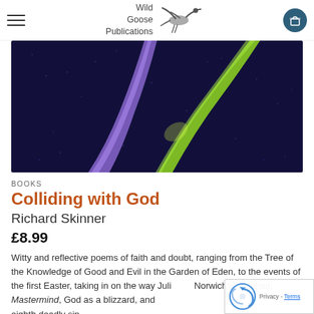Wild Goose Publications [navigation header with logo]
[Figure (photo): Close-up photo of two glowing lines — one purple/violet and one green/yellow — crossing diagonally on a dark navy background, resembling illuminated road markings or abstract art.]
BOOKS
Colliding with God
Richard Skinner
£8.99
Witty and reflective poems of faith and doubt, ranging from the Tree of the Knowledge of Good and Evil in the Garden of Eden, to the events of the first Easter, taking in on the way Julian of Norwich's hazelnut, Mastermind, God as a blizzard, and the eighth deadly sin.